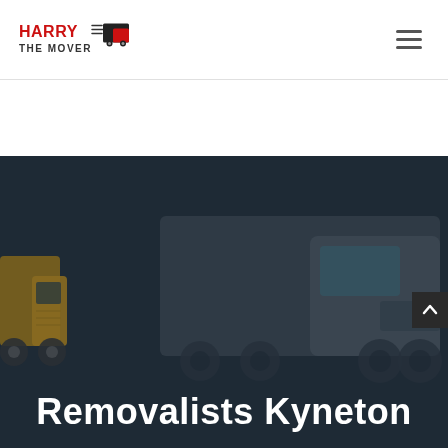[Figure (logo): Harry The Mover logo — red bold text 'HARRY THE MOVER' with a red and dark cartoon moving truck with speed lines]
[Figure (illustration): Hamburger / menu icon — three horizontal dark lines stacked]
[Figure (photo): Dark hero banner background showing a large white semi-trailer truck and a smaller yellow moving truck on the left edge, with a dark teal/navy overlay]
Removalists Kyneton